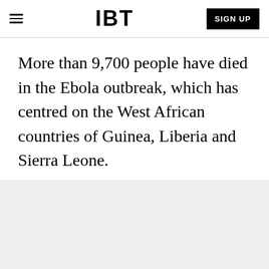IBT
More than 9,700 people have died in the Ebola outbreak, which has centred on the West African countries of Guinea, Liberia and Sierra Leone.
The United Nations said on Monday that attempts to contain the outbreak were entering a "second phase."